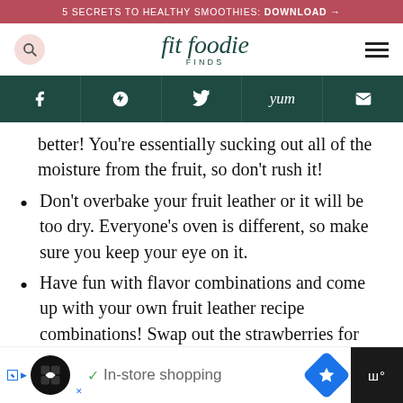5 SECRETS TO HEALTHY SMOOTHIES: DOWNLOAD →
[Figure (logo): Fit Foodie Finds website header with search icon, site logo and hamburger menu]
[Figure (infographic): Social sharing bar with Facebook, Pinterest, Twitter, Yummly, and Email icons on dark teal background]
better! You're essentially sucking out all of the moisture from the fruit, so don't rush it!
Don't overbake your fruit leather or it will be too dry. Everyone's oven is different, so make sure you keep your eye on it.
Have fun with flavor combinations and come up with your own fruit leather recipe combinations! Swap out the strawberries for raspberries or banana for mango.
[Figure (screenshot): Advertisement banner: In-store shopping ad with logo and navigation icons]